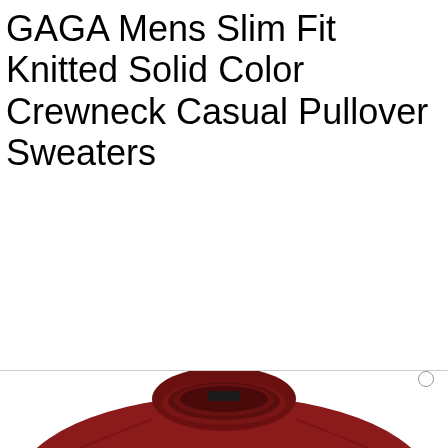GAGA Mens Slim Fit Knitted Solid Color Crewneck Casual Pullover Sweaters
[Figure (photo): Red crewneck pullover sweater product photo on white background, showing the neckline and upper body of the garment]
We use cookies to enhance your experience while using our website. To learn more about the cookies we use and the data we collect, please check our Privacy Settings.
I Accept